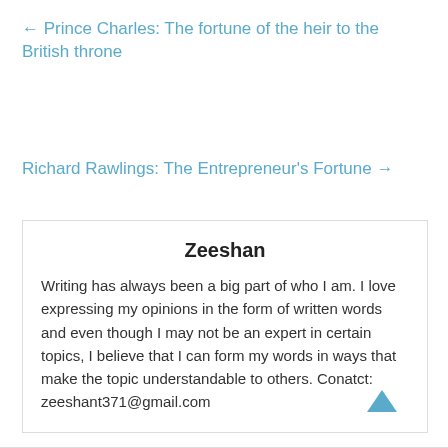← Prince Charles: The fortune of the heir to the British throne
Richard Rawlings: The Entrepreneur's Fortune →
Zeeshan
Writing has always been a big part of who I am. I love expressing my opinions in the form of written words and even though I may not be an expert in certain topics, I believe that I can form my words in ways that make the topic understandable to others. Conatct: zeeshant371@gmail.com